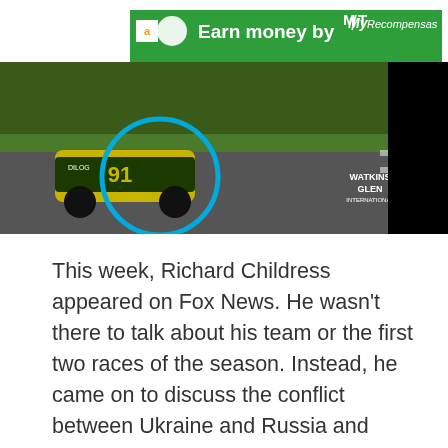[Figure (screenshot): Ad banner with Amazon icon, Puma logo, green background reading 'Earn money by...' with MyRecompensas branding]
[Figure (screenshot): Video popup showing NASCAR race car #91 at Watkins Glen International with blue circle highlight, overlaid with title 'Kimi Räikkönen's race ends early after crash at Watkins Glen' on black background, close button (x) in top right]
This week, Richard Childress appeared on Fox News. He wasn't there to talk about his team or the first two races of the season. Instead, he came on to discuss the conflict between Ukraine and Russia and announced that he was working with a company to send a million rounds of ammunition to Ukraine.